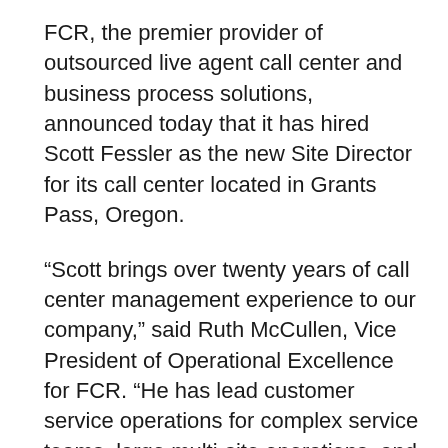FCR, the premier provider of outsourced live agent call center and business process solutions, announced today that it has hired Scott Fessler as the new Site Director for its call center located in Grants Pass, Oregon.
“Scott brings over twenty years of call center management experience to our company,” said Ruth McCullen, Vice President of Operational Excellence for FCR. “He has lead customer service operations for complex service teams, large multi-site operations, and global customer care operations for various companies. We’re excited to have Scott join our team at FCR